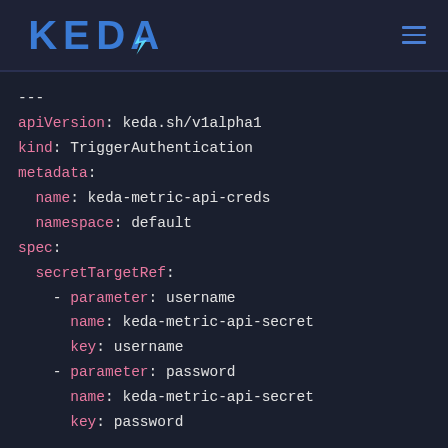KEDA logo and navigation
---
apiVersion: keda.sh/v1alpha1
kind: TriggerAuthentication
metadata:
  name: keda-metric-api-creds
  namespace: default
spec:
  secretTargetRef:
    - parameter: username
      name: keda-metric-api-secret
      key: username
    - parameter: password
      name: keda-metric-api-secret
      key: password